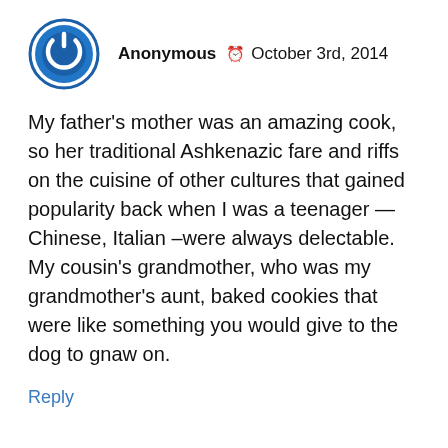Anonymous  October 3rd, 2014
My father's mother was an amazing cook, so her traditional Ashkenazic fare and riffs on the cuisine of other cultures that gained popularity back when I was a teenager — Chinese, Italian –were always delectable. My cousin's grandmother, who was my grandmother's aunt, baked cookies that were like something you would give to the dog to gnaw on.
Reply